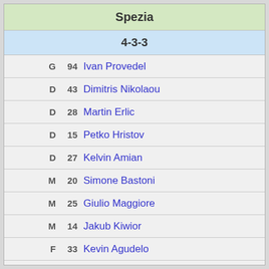Spezia
4-3-3
G 94 Ivan Provedel
D 43 Dimitris Nikolaou
D 28 Martin Erlic
D 15 Petko Hristov
D 27 Kelvin Amian
M 20 Simone Bastoni
M 25 Giulio Maggiore
M 14 Jakub Kiwior
F 33 Kevin Agudelo
F 11 Emmanuel Gyasi
F 10 Daniele Verde
G 1 Jeroen Zoet
M 6 Mehdi Bourabia